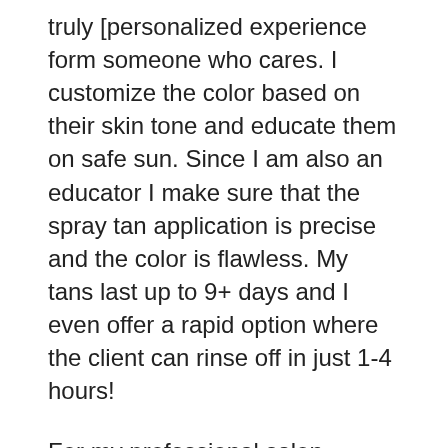truly [personalized experience form someone who cares. I customize the color based on their skin tone and educate them on safe sun. Since I am also an educator I make sure that the spray tan application is precise and the color is flawless. My tans last up to 9+ days and I even offer a rapid option where the client can rinse off in just 1-4 hours!
For my professional salon beauty pros, I strive to give the best service available. and my customer service & products are top rated in the sunless beauty industry. My products were used on the Superbowl 50 Carolina Topcat cheerleaders by their spray tan provider and most recently my spray tan solution was used on Jlo! She was spray tanned by